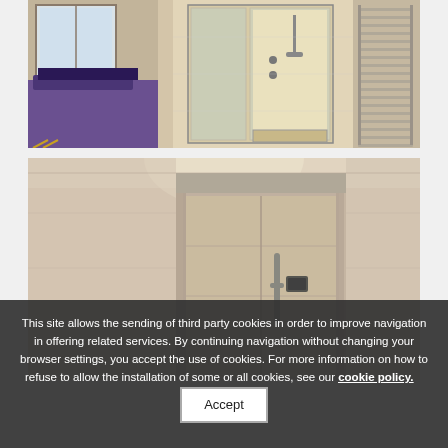[Figure (photo): Interior bathroom photo showing a glass shower enclosure, beige/cream tiled walls, a purple towel and chair on the left, and a heated towel rail on the right.]
[Figure (photo): Interior corridor/entrance photo showing a modern beige/taupe flush door with a vertical handle and electronic keypad, set in tiled walls lit from above.]
This site allows the sending of third party cookies in order to improve navigation in offering related services. By continuing navigation without changing your browser settings, you accept the use of cookies. For more information on how to refuse to allow the installation of some or all cookies, see our cookie policy.